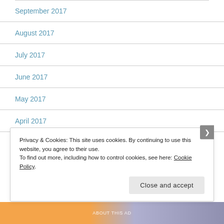September 2017
August 2017
July 2017
June 2017
May 2017
April 2017
March 2017
Privacy & Cookies: This site uses cookies. By continuing to use this website, you agree to their use.
To find out more, including how to control cookies, see here: Cookie Policy
Close and accept